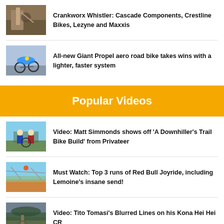[Figure (photo): Mountain bike on wooden trail]
Crankworx Whistler: Cascade Components, Crestline Bikes, Lezyne and Maxxis
[Figure (photo): Cyclist riding aero road bike]
All-new Giant Propel aero road bike takes wins with a lighter, faster system
Popular Videos
[Figure (photo): Two people standing with mountain bike on hill]
Video: Matt Simmonds shows off 'A Downhiller's Trail Bike Build' from Privateer
[Figure (photo): Red Bull Joyride event aerial view]
Must Watch: Top 3 runs of Red Bull Joyride, including Lemoine's insane send!
[Figure (photo): Mountain biker on rocky trail in forest]
Video: Tito Tomasi's Blurred Lines on his Kona Hei Hei CR